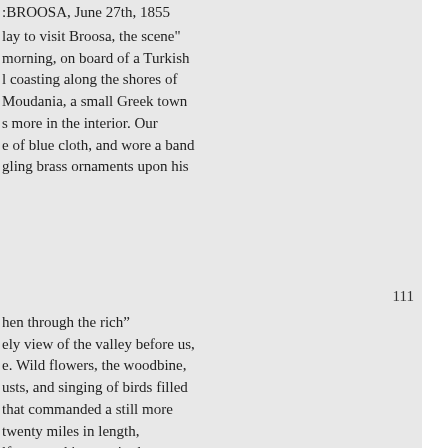:BROOSA, June 27th, 1855
lay to visit Broosa, the scene"
morning, on board of a Turkish
l coasting along the shores of
Moudania, a small Greek town
s more in the interior. Our
e of blue cloth, and wore a band
gling brass ornaments upon his
111
hen through the rich"
ely view of the valley before us,
e. Wild flowers, the woodbine,
usts, and singing of birds filled
that commanded a still more
twenty miles in length,
lfar wound its way in the centre,
herds were attending these, and
areted city' rose before us on the
he whole combining the grand
orded the river, and refreshed